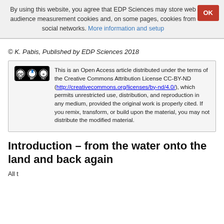By using this website, you agree that EDP Sciences may store web audience measurement cookies and, on some pages, cookies from social networks. More information and setup
© K. Pabis, Published by EDP Sciences 2018
This is an Open Access article distributed under the terms of the Creative Commons Attribution License CC-BY-ND (http://creativecommons.org/licenses/by-nd/4.0/), which permits unrestricted use, distribution, and reproduction in any medium, provided the original work is properly cited. If you remix, transform, or build upon the material, you may not distribute the modified material.
Introduction – from the water onto the land and back again
All text continues below...